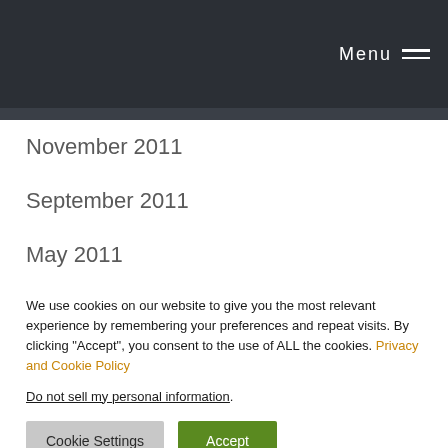Menu
November 2011
September 2011
May 2011
We use cookies on our website to give you the most relevant experience by remembering your preferences and repeat visits. By clicking "Accept", you consent to the use of ALL the cookies. Privacy and Cookie Policy
Do not not sell my personal information.
Cookie Settings  Accept